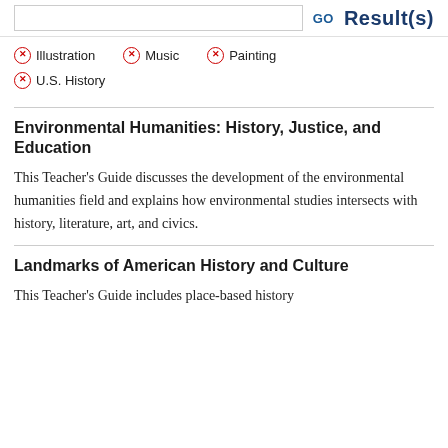GO Result(s)
× Illustration
× Music
× Painting
× U.S. History
Environmental Humanities: History, Justice, and Education
This Teacher's Guide discusses the development of the environmental humanities field and explains how environmental studies intersects with history, literature, art, and civics.
Landmarks of American History and Culture
This Teacher's Guide includes place-based history